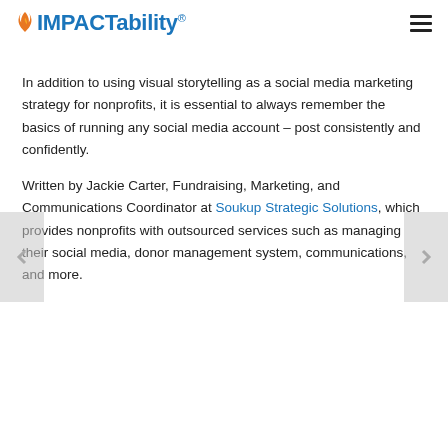IMPACTability®
In addition to using visual storytelling as a social media marketing strategy for nonprofits, it is essential to always remember the basics of running any social media account – post consistently and confidently.
Written by Jackie Carter, Fundraising, Marketing, and Communications Coordinator at Soukup Strategic Solutions, which provides nonprofits with outsourced services such as managing their social media, donor management system, communications, and more.